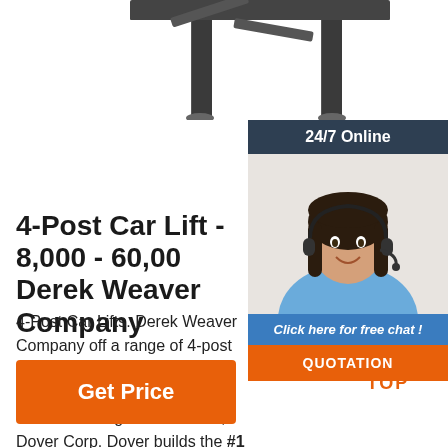[Figure (photo): Partial view of a 4-post car lift product photo, showing the upper portion of the lift structure]
4-Post Car Lift - 8,000 - 60,00 Derek Weaver Company
4-Post Car Lifts. Derek Weaver Company offers a range of 4-post lifts for sale from 8,000 lb. to 60,000 lb. capacities. We carry lifts from the world's largest lift manufacturer, Dover Corp. Dover builds the #1 enthusiast brand and official lift of the Barrett-Jackson auctions, Direct-Lift.
[Figure (infographic): 24/7 Online chat widget with a photo of a female customer service representative wearing a headset, with 'Click here for free chat!' text and 'QUOTATION' button in orange]
[Figure (logo): Orange dotted triangle TOP badge icon]
Get Price